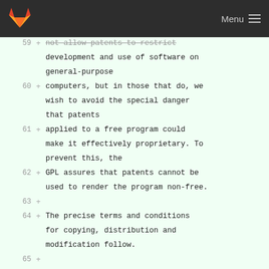GitLab | Menu
59 + not allow patents to restrict development and use of software on general-purpose
60 + computers, but in those that do, we wish to avoid the special danger that patents
61 + applied to a free program could make it effectively proprietary. To prevent this, the
62 + GPL assures that patents cannot be used to render the program non-free.
63 +
64 + The precise terms and conditions for copying, distribution and modification follow.
65 +
66 + ## TERMS AND CONDITIONS
67 +
68 + ### 0. Definitions
69 +
70 + "This License" refers to version 3